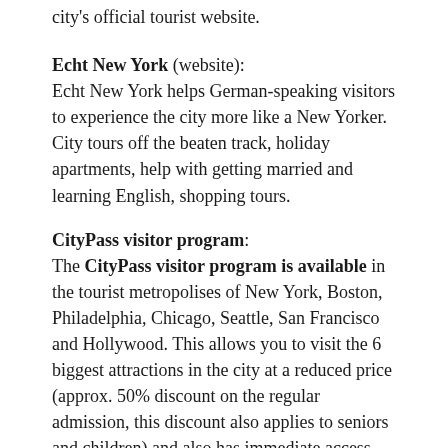city's official tourist website.
Echt New York (website):
Echt New York helps German-speaking visitors to experience the city more like a New Yorker. City tours off the beaten track, holiday apartments, help with getting married and learning English, shopping tours.
CityPass visitor program:
The CityPass visitor program is available in the tourist metropolises of New York, Boston, Philadelphia, Chicago, Seattle, San Francisco and Hollywood. This allows you to visit the 6 biggest attractions in the city at a reduced price (approx. 50% discount on the regular admission, this discount also applies to seniors and children) and also has immediate access (bypassing the queues). You can get your pass for New York at following link purchase (from US $ 109.00). The CityPass allows you to visit six of New York City's top attractions for nine consecutive days.